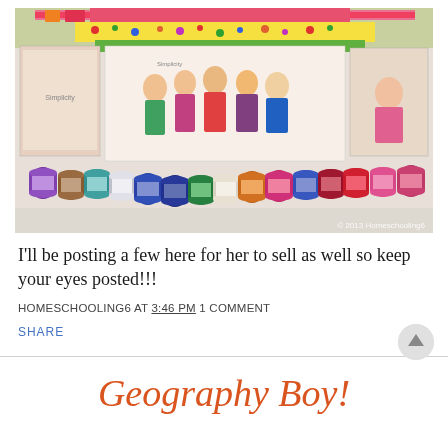[Figure (photo): Photo of colorful thread spools and sewing pattern packages (Simplicity brand) laid out on a surface. Multiple spools of thread in various colors arranged in a row at the bottom, with sewing pattern envelopes showing children in aprons and craft projects behind them. Copyright 2013 Homeschooling6 watermark visible.]
I'll be posting a few here for her to sell as well so keep your eyes posted!!!
HOMESCHOOLING6 AT 3:46 PM 1 COMMENT
SHARE
Geography Boy!